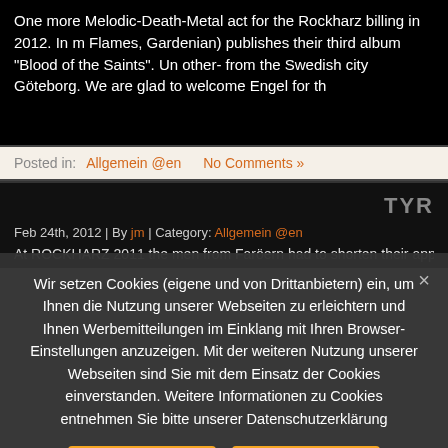One more Melodic-Death-Metal act for the Rockharz billing in 2012. In m Flames, Gardenian) publishes their third album “Blood of the Saints”. Ub other- from the Swedish city Göteborg. We are glad to welcome Engel for th
Posted in: Allgemein @en   No Comments »
TYR
Feb 24th, 2012 | By jm | Category: Allgemein @en
At ROCKHARZ 2011 the men from Faröern had to shorten their appearan
Wir setzen Cookies (eigene und von Drittanbietern) ein, um Ihnen die Nutzung unserer Webseiten zu erleichtern und Ihnen Werbemitteilungen im Einklang mit Ihren Browser-Einstellungen anzuzeigen. Mit der weiteren Nutzung unserer Webseiten sind Sie mit dem Einsatz der Cookies einverstanden. Weitere Informationen zu Cookies entnehmen Sie bitte unserer Datenschutzerklärung
Akzeptieren
Nicht akzeptieren
Weitere Informationen